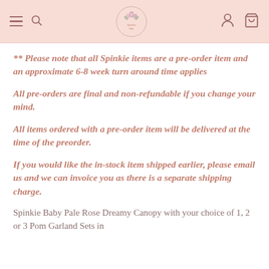Navigation header with hamburger menu, search icon, brand logo, account icon, and cart icon
** Please note that all Spinkie items are a pre-order item and an approximate 6-8 week turn around time applies
All pre-orders are final and non-refundable if you change your mind.
All items ordered with a pre-order item will be delivered at the time of the preorder.
If you would like the in-stock item shipped earlier, please email us and we can invoice you as there is a separate shipping charge.
Spinkie Baby Pale Rose Dreamy Canopy with your choice of 1, 2 or 3 Pom Garland Sets in